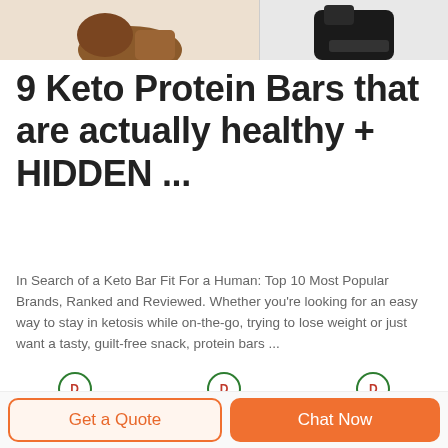[Figure (photo): Top banner with two product images: brown boot on left, dark boot/product on right, separated by vertical line]
9 Keto Protein Bars that are actually healthy + HIDDEN ...
In Search of a Keto Bar Fit For a Human: Top 10 Most Popular Brands, Ranked and Reviewed. Whether you're looking for an easy way to stay in ketosis while on-the-go, trying to lose weight or just want a tasty, guilt-free snack, protein bars ...
[Figure (logo): Three DEEKON brand logos with product images below them arranged in a row]
Get a Quote
Chat Now